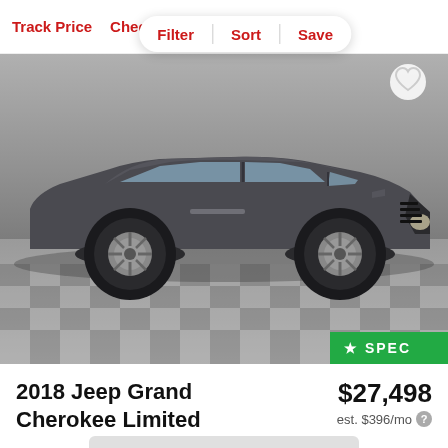Track Price   Check Availability
Filter   Sort   Save
[Figure (photo): 2018 Jeep Grand Cherokee Limited in dark gray, parked in a dealership showroom with a checkered floor. A green badge in the bottom-right corner reads 'SPEC'. A heart/favorite icon appears in the top-right corner.]
2018 Jeep Grand Cherokee Limited
$27,498
est. $396/mo